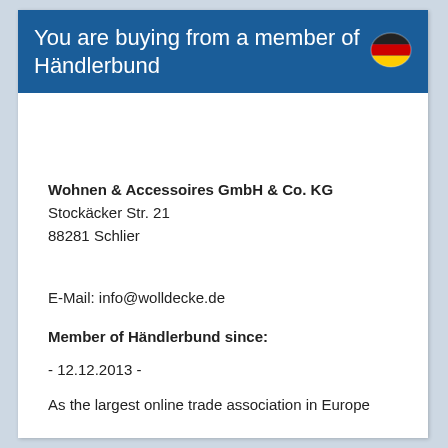You are buying from a member of Händlerbund
[Figure (illustration): German flag icon (black, red, gold) displayed as a circular/oval badge in the top right of the header]
Wohnen & Accessoires GmbH & Co. KG
Stockäcker Str. 21
88281 Schlier
E-Mail: info@wolldecke.de
Member of Händlerbund since:
- 12.12.2013 -
As the largest online trade association in Europe